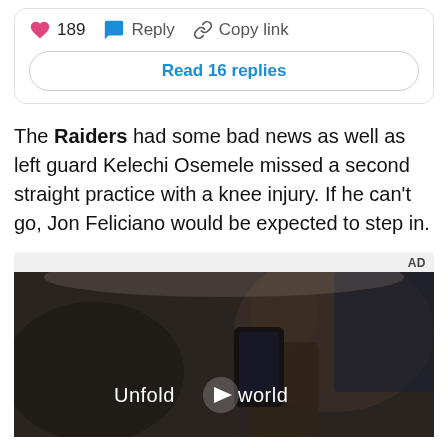[Figure (screenshot): Social media post action bar showing pink heart icon with 189 likes, blue reply bubble icon with Reply label, and chain link icon with Copy link label, followed by a Read 16 replies button.]
The Raiders had some bad news as well as left guard Kelechi Osemele missed a second straight practice with a knee injury. If he can't go, Jon Feliciano would be expected to step in.
[Figure (screenshot): Video advertisement thumbnail showing a dark scene inside a car with a person holding a Samsung foldable phone. Text overlay reads 'Unfold [play button] world'. AD label in upper right corner.]